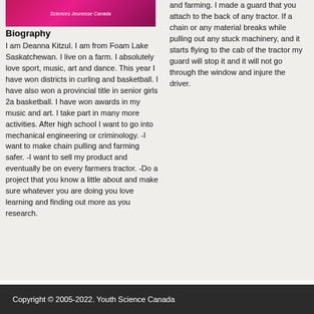[Figure (photo): Photo of Deanna Kitzul wearing a pink Sciences Jeunesse Canada shirt]
Biography
I am Deanna Kitzul. I am from Foam Lake Saskatchewan. I live on a farm. I absolutely love sport, music, art and dance. This year I have won districts in curling and basketball. I have also won a provincial title in senior girls 2a basketball. I have won awards in my music and art. I take part in many more activities. After high school I want to go into mechanical engineering or criminology. -I want to make chain pulling and farming safer. -I want to sell my product and eventually be on every farmers tractor. -Do a project that you know a little about and make sure whatever you are doing you love learning and finding out more as you research.
and farming. I made a guard that you attach to the back of any tractor. If a chain or any material breaks while pulling out any stuck machinery, and it starts flying to the cab of the tractor my guard will stop it and it will not go through the window and injure the driver.
Copyright © 2005-2022. Youth Science Canada